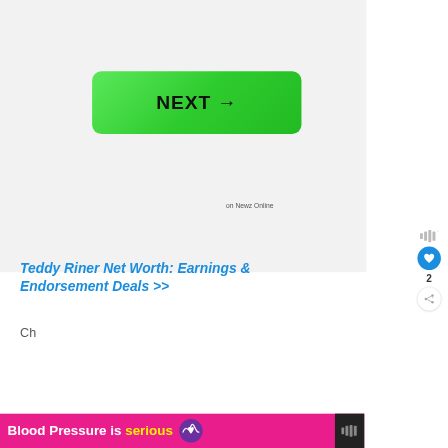[Figure (screenshot): Large green rounded-rectangle button with bold black text 'NEXT →' centered on a light gray background]
on Newz Online
[Figure (infographic): Sidebar icons: sound wave icon, blue heart/like button, share button with count 2]
Teddy Riner Net Worth: Earnings & Endorsement Deals >>
[Figure (infographic): Pink/magenta ad banner: 'Blood Pressure is serious' with heart monitor logo icon, and a dark sidebar icon on right]